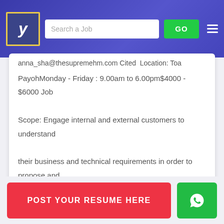[Figure (screenshot): Job portal website header with logo (stylized Y), search bar with placeholder 'Search a Job', green GO button, and hamburger menu on blue/purple gradient background]
anna_sha@thesupremehm.com Cited Location: Toa PayohMonday - Friday : 9.00am to 6.00pm$4000 - $6000 Job Scope: Engage internal and external customers to understand their business and technical requirements in order to propose and develop AI...
POST YOUR RESUME HERE